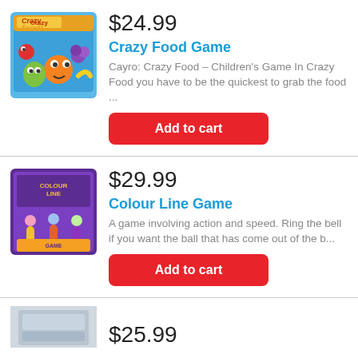[Figure (photo): Crazy Food Game box - colorful board game with cartoon fruit characters]
$24.99
Crazy Food Game
Cayro: Crazy Food – Children's Game In Crazy Food you have to be the quickest to grab the food ...
Add to cart
[Figure (photo): Colour Line Game box - purple box with children playing]
$29.99
Colour Line Game
A game involving action and speed. Ring the bell if you want the ball that has come out of the b...
Add to cart
[Figure (photo): Partial view of a third product image]
$25.99